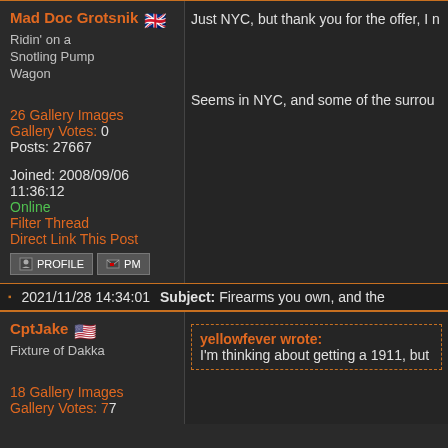Mad Doc Grotsnik - Ridin' on a Snotling Pump Wagon - 26 Gallery Images - Gallery Votes: 0 - Posts: 27667 - Joined: 2008/09/06 11:36:12 - Online - Filter Thread - Direct Link This Post
Just NYC, but thank you for the offer, I n... Seems in NYC, and some of the surrou...
2021/11/28 14:34:01 Subject: Firearms you own, and the...
CptJake - Fixture of Dakka - 18 Gallery Images
yellowfever wrote: I'm thinking about getting a 1911, but...